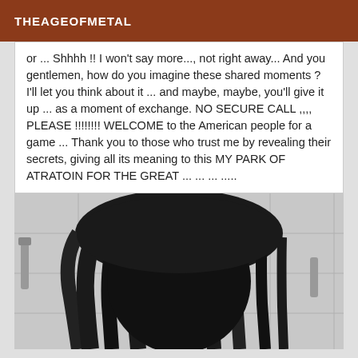THEAGEOFMETAL
or ... Shhhh !! I won't say more..., not right away... And you gentlemen, how do you imagine these shared moments ? I'll let you think about it ... and maybe, maybe, you'll give it up ... as a moment of exchange. NO SECURE CALL ,,,, PLEASE !!!!!!!! WELCOME to the American people for a game ... Thank you to those who trust me by revealing their secrets, giving all its meaning to this MY PARK OF ATRATOIN FOR THE GREAT ... ... ... .....
[Figure (photo): Black and white photo of a person with long dark wet hair, viewed from behind, in a bathroom or shower setting with tiled walls and a shower fixture visible.]